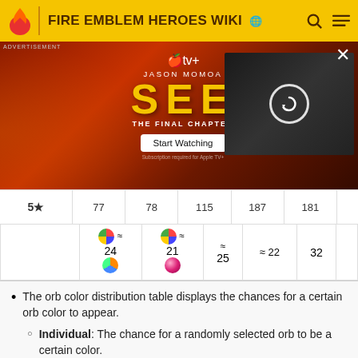FIRE EMBLEM HEROES WIKI
[Figure (screenshot): Advertisement banner for Apple TV+ show SEE: The Final Chapter featuring Jason Momoa. Contains Apple TV+ logo, show title SEE in large yellow letters, Jason Momoa subtitle, THE FINAL CHAPTER text, Start Watching button, and a video thumbnail with refresh icon.]
| 5★ | 77 | 78 | 115 | 187 | 181 | − |
| --- | --- | --- | --- | --- | --- | --- |
|  | ⊕ ≈ 24 | ⊕ ≈ 21 | ≈ 25 | ≈ 22 | 32 |  |
The orb color distribution table displays the chances for a certain orb color to appear.
Individual: The chance for a randomly selected orb to be a certain color.
All: The chance for all orbs to be a certain color.